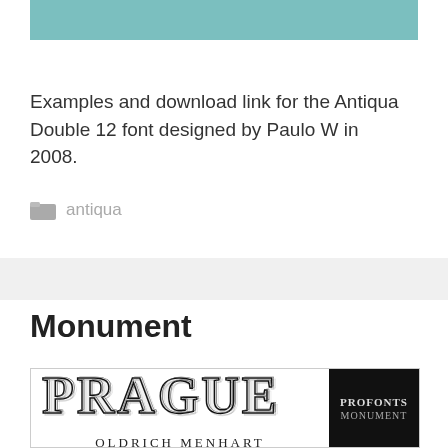[Figure (illustration): Teal/turquoise colored horizontal bar at the top of the page]
Examples and download link for the Antiqua Double 12 font designed by Paulo W in 2008.
antiqua
Monument
[Figure (illustration): Font preview image showing 'PRAGUE' in large decorative serif font with double-line effect, 'OLDRICH MENHART' in smaller serif below, and a black panel on the right with 'PROFONTS MONUMENT' text]